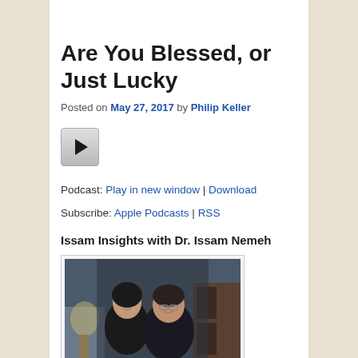Are You Blessed, or Just Lucky
Posted on May 27, 2017 by Philip Keller
[Figure (other): Audio play button widget]
Podcast: Play in new window | Download
Subscribe: Apple Podcasts | RSS
Issam Insights with Dr. Issam Nemeh
[Figure (photo): Photo of two people (a woman and a man with glasses) posing together indoors]